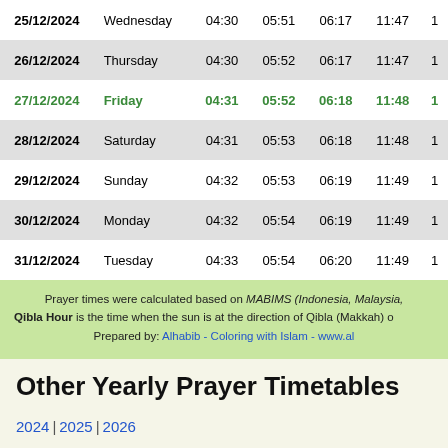| Date | Day | Col3 | Col4 | Col5 | Col6 | Col7 |
| --- | --- | --- | --- | --- | --- | --- |
| 25/12/2024 | Wednesday | 04:30 | 05:51 | 06:17 | 11:47 | 1 |
| 26/12/2024 | Thursday | 04:30 | 05:52 | 06:17 | 11:47 | 1 |
| 27/12/2024 | Friday | 04:31 | 05:52 | 06:18 | 11:48 | 1 |
| 28/12/2024 | Saturday | 04:31 | 05:53 | 06:18 | 11:48 | 1 |
| 29/12/2024 | Sunday | 04:32 | 05:53 | 06:19 | 11:49 | 1 |
| 30/12/2024 | Monday | 04:32 | 05:54 | 06:19 | 11:49 | 1 |
| 31/12/2024 | Tuesday | 04:33 | 05:54 | 06:20 | 11:49 | 1 |
Prayer times were calculated based on MABIMS (Indonesia, Malaysia, ... Qibla Hour is the time when the sun is at the direction of Qibla (Makkah) o... Prepared by: Alhabib - Coloring with Islam - www.al...
Other Yearly Prayer Timetables
2024 | 2025 | 2026
Monthly Prayer Timetables for Cotabato City Year 2024 AD